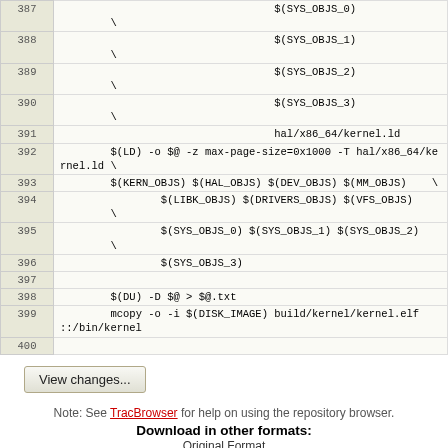| line | code |
| --- | --- |
| 387 |                                   $(SYS_OBJS_0)
        \ |
| 388 |                                   $(SYS_OBJS_1)
        \ |
| 389 |                                   $(SYS_OBJS_2)
        \ |
| 390 |                                   $(SYS_OBJS_3)
        \ |
| 391 |                                   hal/x86_64/kernel.ld |
| 392 |         $(LD) -o $@ -z max-page-size=0x1000 -T hal/x86_64/kernel.ld \ |
| 393 |         $(KERN_OBJS) $(HAL_OBJS) $(DEV_OBJS) $(MM_OBJS)    \ |
| 394 |                 $(LIBK_OBJS) $(DRIVERS_OBJS) $(VFS_OBJS)
        \ |
| 395 |                 $(SYS_OBJS_0) $(SYS_OBJS_1) $(SYS_OBJS_2)
        \ |
| 396 |                 $(SYS_OBJS_3) |
| 397 |  |
| 398 |         $(DU) -D $@ > $@.txt |
| 399 |         mcopy -o -i $(DISK_IMAGE) build/kernel/kernel.elf ::/bin/kernel |
| 400 |  |
View changes...
Note: See TracBrowser for help on using the repository browser.
Download in other formats:
Original Format
Powered by Trac 1.2.3 By Edgewall Software. Visit the Trac open source project at http://trac.edgewall.org/